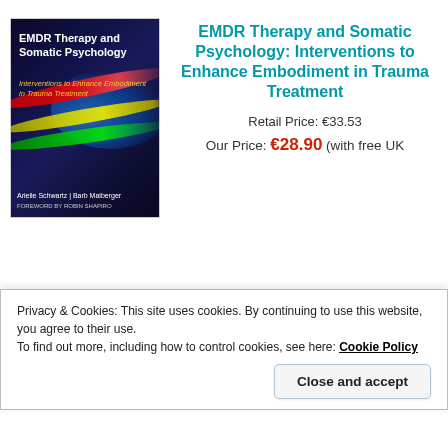[Figure (illustration): Book cover of 'EMDR Therapy and Somatic Psychology: Interventions to Enhance Embodiment in Trauma Treatment' by Arielle Schwartz and Barb Maiberger, with foreword by Robin Shapiro. Dark background with colorful flowing wave lines (red, yellow, green, blue).]
EMDR Therapy and Somatic Psychology: Interventions to Enhance Embodiment in Trauma Treatment
Retail Price: €33.53
Our Price: €28.90 (with free UK ...
Privacy & Cookies: This site uses cookies. By continuing to use this website, you agree to their use.
To find out more, including how to control cookies, see here: Cookie Policy
of EMDR Therapy.